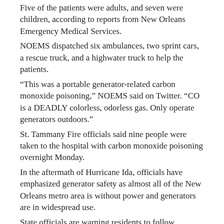Five of the patients were adults, and seven were children, according to reports from New Orleans Emergency Medical Services.
NOEMS dispatched six ambulances, two sprint cars, a rescue truck, and a highwater truck to help the patients.
“This was a portable generator-related carbon monoxide poisoning,” NOEMS said on Twitter. “CO is a DEADLY colorless, odorless gas. Only operate generators outdoors.”
St. Tammany Fire officials said nine people were taken to the hospital with carbon monoxide poisoning overnight Monday.
In the aftermath of Hurricane Ida, officials have emphasized generator safety as almost all of the New Orleans metro area is without power and generators are in widespread use.
State officials are warning residents to follow generator safety tips:
Always follow manufacturer instructions when setting up a generator.
Never use a generator inside your home or garage.
Only use a generator outside in a well-ventilated area.
Place your generator at least 20 feet away from your home.